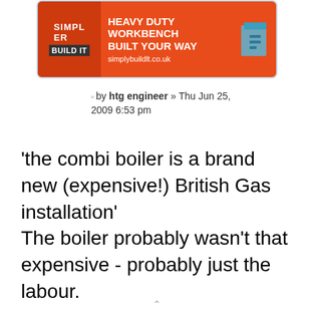[Figure (other): Advertisement banner for simplybuildlt.co.uk showing a heavy duty workbench built your way, orange background with white text and blue box icon]
by htg engineer » Thu Jun 25, 2009 6:53 pm
'the combi boiler is a brand new (expensive!) British Gas installation'
The boiler probably wasn't that expensive - probably just the labour.